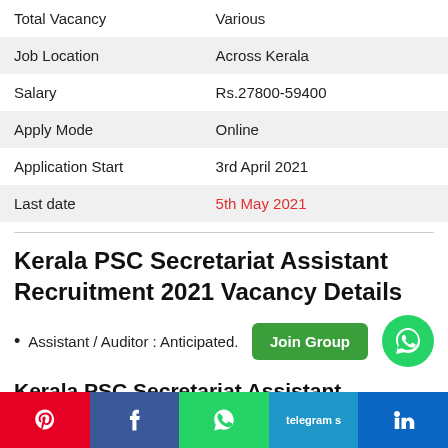|  |  |
| --- | --- |
| Total Vacancy | Various |
| Job Location | Across Kerala |
| Salary | Rs.27800-59400 |
| Apply Mode | Online |
| Application Start | 3rd April 2021 |
| Last date | 5th May 2021 |
Kerala PSC Secretariat Assistant Recruitment 2021 Vacancy Details
Assistant / Auditor : Anticipated.
Kerala PSC Secretariat Assistant Recruitment